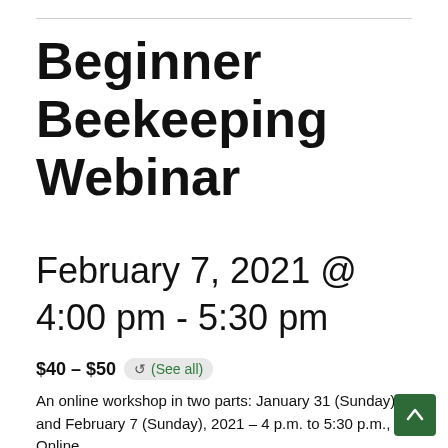Beginner Beekeeping Webinar
February 7, 2021 @ 4:00 pm - 5:30 pm
$40 – $50  ↺ (See all)
An online workshop in two parts: January 31 (Sunday) and February 7 (Sunday), 2021 – 4 p.m. to 5:30 p.m., Online.
Fee: $50; $40 for MOEGA members.